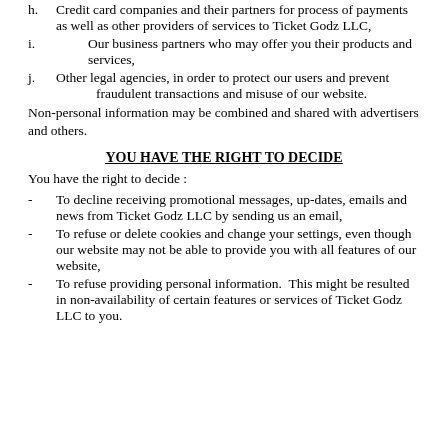h. Credit card companies and their partners for process of payments as well as other providers of services to Ticket Godz LLC,
i. Our business partners who may offer you their products and services,
j. Other legal agencies, in order to protect our users and prevent fraudulent transactions and misuse of our website.
Non-personal information may be combined and shared with advertisers and others.
YOU HAVE THE RIGHT TO DECIDE
You have the right to decide :
- To decline receiving promotional messages, up-dates, emails and news from Ticket Godz LLC by sending us an email,
- To refuse or delete cookies and change your settings, even though our website may not be able to provide you with all features of our website,
- To refuse providing personal information. This might be resulted in non-availability of certain features or services of Ticket Godz LLC to you.